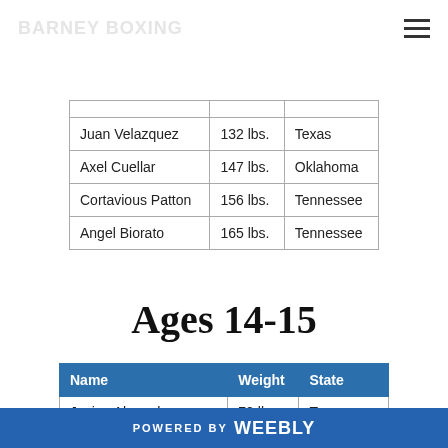BARNEY BOXING
| Name | Weight | State |
| --- | --- | --- |
| Juan Velazquez | 132 lbs. | Texas |
| Axel Cuellar | 147 lbs. | Oklahoma |
| Cortavious Patton | 156 lbs. | Tennessee |
| Angel Biorato | 165 lbs. | Tennessee |
Ages 14-15
| Name | Weight | State |
| --- | --- | --- |
| Javien Alpough | 70 lbs. | Texas |
| Bleek Ashbrook | 80 lbs. | Oklahoma |
| Dazmenn Miller-Killins | 90 lbs. | Arkansas |
| Alejandro Hernandez | 95 lbs. | Texas |
POWERED BY weebly